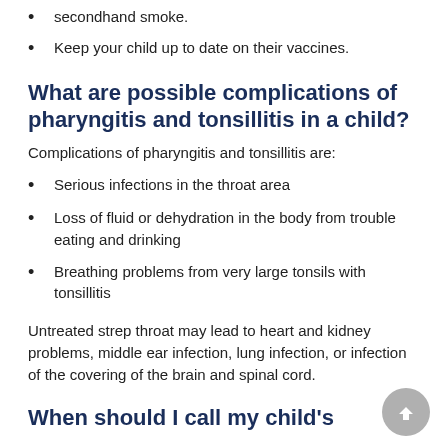secondhand smoke.
Keep your child up to date on their vaccines.
What are possible complications of pharyngitis and tonsillitis in a child?
Complications of pharyngitis and tonsillitis are:
Serious infections in the throat area
Loss of fluid or dehydration in the body from trouble eating and drinking
Breathing problems from very large tonsils with tonsillitis
Untreated strep throat may lead to heart and kidney problems, middle ear infection, lung infection, or infection of the covering of the brain and spinal cord.
When should I call my child's